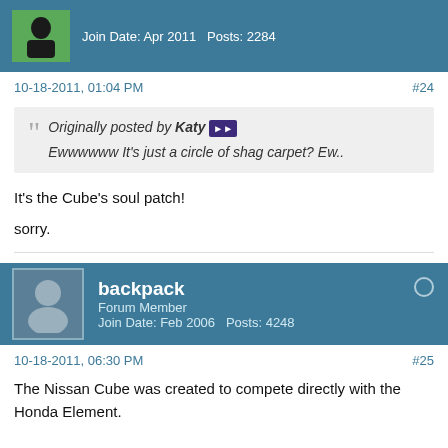Join Date: Apr 2011   Posts: 2284
10-18-2011, 01:04 PM   #24
Originally posted by Katy
Ewwwwww It's just a circle of shag carpet? Ew..
It's the Cube's soul patch!
sorry.
backpack
Forum Member
Join Date: Feb 2006   Posts: 4248
10-18-2011, 06:30 PM   #25
The Nissan Cube was created to compete directly with the Honda Element.